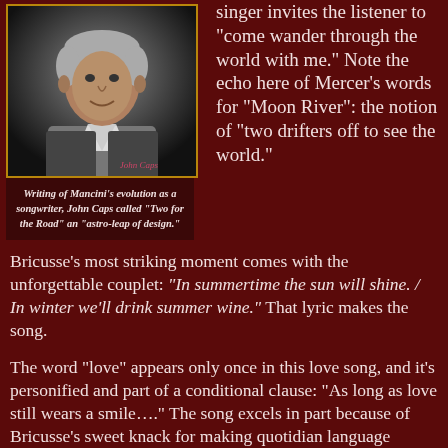[Figure (photo): Black and white photograph of John Caps, a man smiling, wearing a dark sweater with white collared shirt visible at neck]
Writing of Mancini's evolution as a songwriter, John Caps called "Two for the Road" an "astro-leap of design."
singer invites the listener to "come wander through the world with me." Note the echo here of Mercer's words for "Moon River": the notion of "two drifters off to see the world." Bricusse's most striking moment comes with the unforgettable couplet: "In summertime the sun will shine. / In winter we'll drink summer wine." That lyric makes the song.
The word "love" appears only once in this love song, and it's personified and part of a conditional clause: "As long as love still wears a smile…." The song excels in part because of Bricusse's sweet knack for making quotidian language profound. In his 2006 memoir The Music Man, he claimed that the words were "a joy to write," adding, "Certain melodies tell